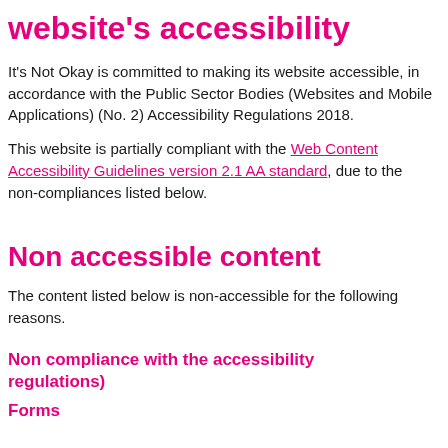website's accessibility
It's Not Okay is committed to making its website accessible, in accordance with the Public Sector Bodies (Websites and Mobile Applications) (No. 2) Accessibility Regulations 2018.
This website is partially compliant with the Web Content Accessibility Guidelines version 2.1 AA standard, due to the non-compliances listed below.
Non accessible content
The content listed below is non-accessible for the following reasons.
Non compliance with the accessibility regulations)
Forms